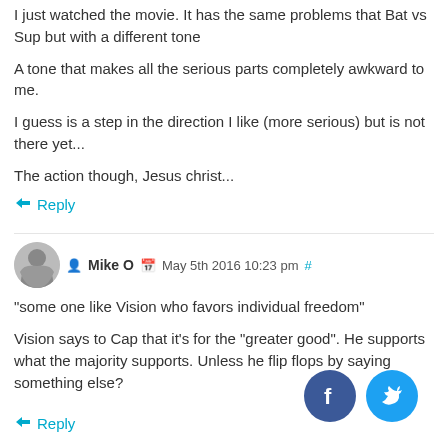I just watched the movie. It has the same problems that Bat vs Sup but with a different tone
A tone that makes all the serious parts completely awkward to me.
I guess is a step in the direction I like (more serious) but is not there yet...
The action though, Jesus christ...
↪ Reply
Mike O  May 5th 2016 10:23 pm #
"some one like Vision who favors individual freedom"
Vision says to Cap that it's for the "greater good". He supports what the majority supports. Unless he flip flops by saying something else?
↪ Reply